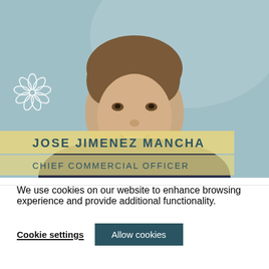[Figure (photo): Professional headshot of Jose Jimenez Mancha, a man in a dark navy sweater against a light blue-grey background, with a company flower/snowflake logo overlay on the left, and name/title banners at the bottom reading JOSE JIMENEZ MANCHA / CHIEF COMMERCIAL OFFICER in yellow/gold banners with teal text.]
We use cookies on our website to enhance browsing experience and provide additional functionality.
Cookie settings
Allow cookies